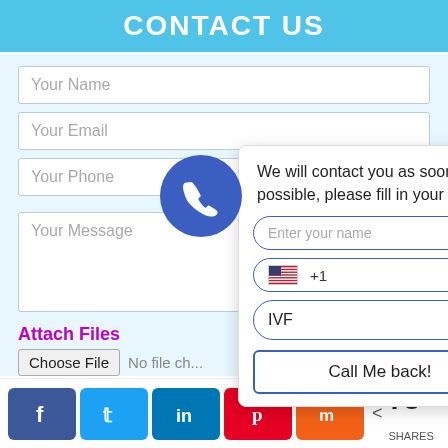CONTACT US
Your Name
Your Email
Your Phone
Your Message
Attach Files
Choose File  No file ch...
[Figure (screenshot): Green submit button bar]
[Figure (infographic): Phone icon blue circle with popup dialog: 'We will contact you as soon as possible, please fill in your details!' with fields Enter your name, +1 phone, IVF dropdown, and Call Me back! button. Close X button top right.]
[Figure (infographic): Social share bar with Facebook, Twitter, LinkedIn, Pinterest, Mix buttons and share count of 73 SHARES]